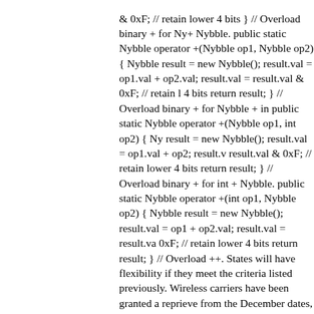& 0xF; // retain lower 4 bits } // Overload binary + for Nybble + Nybble. public static Nybble operator +(Nybble op1, Nybble op2) { Nybble result = new Nybble(); result.val = op1.val + op2.val; result.val = result.val & 0xF; // retain lower 4 bits return result; } // Overload binary + for Nybble + int. public static Nybble operator +(Nybble op1, int op2) { Nybble result = new Nybble(); result.val = op1.val + op2; result.val = result.val & 0xF; // retain lower 4 bits return result; } // Overload binary + for int + Nybble. public static Nybble operator +(int op1, Nybble op2) { Nybble result = new Nybble(); result.val = op1 + op2.val; result.val = result.val & 0xF; // retain lower 4 bits return result; } // Overload ++. States will have flexibility if they meet the criteria listed previously. Wireless carriers have been granted a reprieve from the December dates, originally allowing a June 1999 implementation date. This has since been postponed until 2000 and may be extended again. Shortly after the studies were completed, several states began the process of officially selecting the architecture to be used for LNP in their respective states. The Illinois task force requested LNP solutions from a wide array of companies via a Request For Proposal (RFP) developed by the carriers that offered service in the state of Illinois at that time. An official voting body, which was comprised of those carriers, was Certain time-related words and phrases inspire action, such